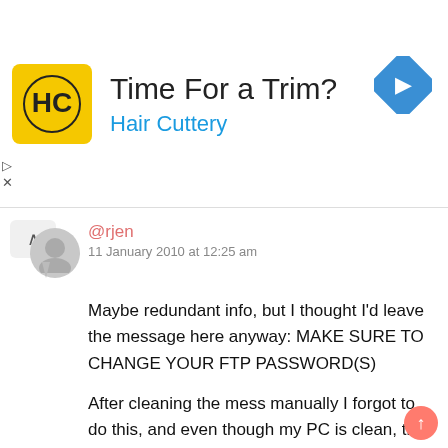[Figure (infographic): Advertisement banner for Hair Cuttery showing logo, headline 'Time For a Trim?', brand name 'Hair Cuttery', and a blue diamond navigation arrow icon]
@rjen
11 January 2010 at 12:25 am
Maybe redundant info, but I thought I'd leave the message here anyway: MAKE SURE TO CHANGE YOUR FTP PASSWORD(S)
After cleaning the mess manually I forgot to do this, and even though my PC is clean, the next day my sites were infected AGAIN. So the trojan really tries again from remote source with the stole password!
After changing the passwords (which I should have done immediately of course) all stays